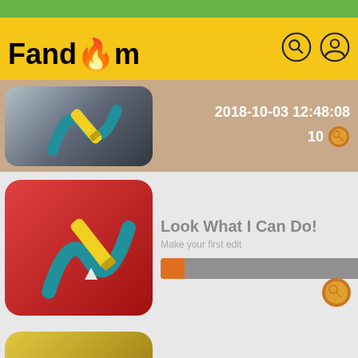Fandom
2018-10-03 12:48:08
10
Look What I Can Do!
Getting the Hang of This
Century Club
Moving on Up